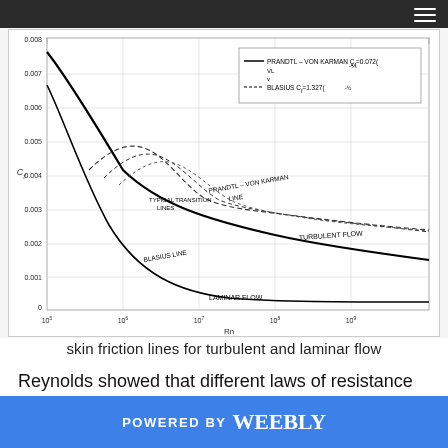[Figure (continuous-plot): Skin friction coefficient (Cf) vs Reynolds number (Rn) chart showing Prandtl-Von Karman turbulent flow line (Cf=0.072*(VL/v)^(-1/5)), Blasius laminar flow line (Cf=1.327*(VL/v)^(-1/2)), and several typical transition lines between laminar and turbulent regimes. Y-axis ranges from 0 to 0.008, X-axis (Rn) from 10^5 to 10^9 on log scale.]
skin friction lines for turbulent and laminar flow
Reynolds showed that different laws of resistance applied to the two flow types. Further, if care was taken to ensure that the fluid entered the mouth of the pipe
POWERED BY weebly